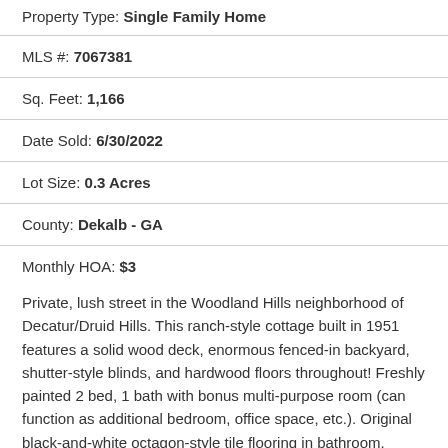Property Type: Single Family Home
MLS #: 7067381
Sq. Feet: 1,166
Date Sold: 6/30/2022
Lot Size: 0.3 Acres
County: Dekalb - GA
Monthly HOA: $3
Private, lush street in the Woodland Hills neighborhood of Decatur/Druid Hills. This ranch-style cottage built in 1951 features a solid wood deck, enormous fenced-in backyard, shutter-style blinds, and hardwood floors throughout! Freshly painted 2 bed, 1 bath with bonus multi-purpose room (can function as additional bedroom, office space, etc.). Original black-and-white octagon-style tile flooring in bathroom. Lovely